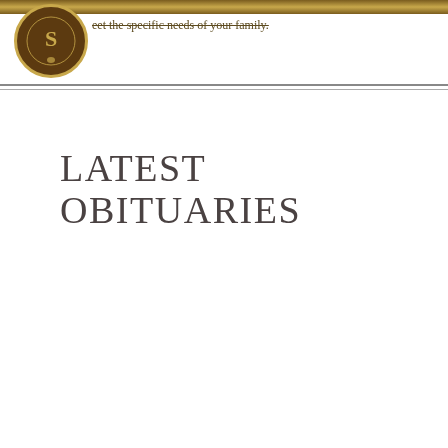eet the specific needs of your family.
LATEST OBITUARIES